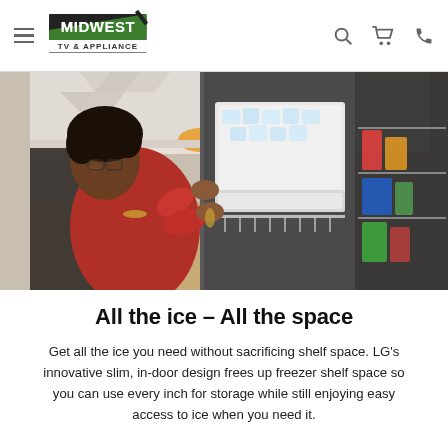Midwest TV & Appliance
[Figure (photo): A person examining or pulling out an ice maker drawer from an open LG side-by-side refrigerator in a modern kitchen. The refrigerator door is open showing ice in the in-door ice maker compartment, and the right side shows the refrigerator compartment with items on shelves.]
All the ice – All the space
Get all the ice you need without sacrificing shelf space. LG's innovative slim, in-door design frees up freezer shelf space so you can use every inch for storage while still enjoying easy access to ice when you need it.